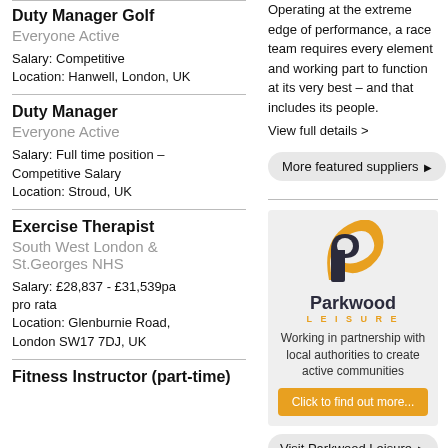Duty Manager Golf
Everyone Active
Salary: Competitive
Location: Hanwell, London, UK
Duty Manager
Everyone Active
Salary: Full time position – Competitive Salary
Location: Stroud, UK
Exercise Therapist
South West London & St.Georges NHS
Salary: £28,837 - £31,539pa pro rata
Location: Glenburnie Road, London SW17 7DJ, UK
Fitness Instructor (part-time)
Operating at the extreme edge of performance, a race team requires every element and working part to function at its very best – and that includes its people.
View full details >
More featured suppliers ▶
[Figure (logo): Parkwood Leisure logo with orange and dark navy P symbol and company name]
Working in partnership with local authorities to create active communities
Click to find out more...
Visit Parkwood Leisure ▶